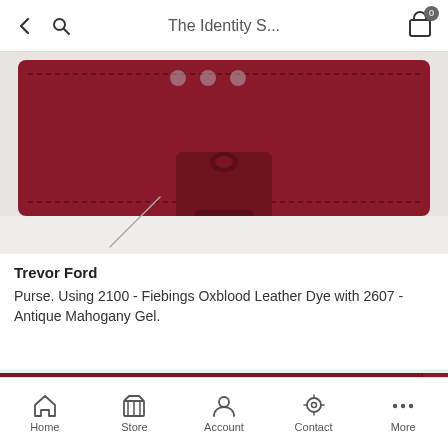The Identity S...
[Figure (photo): Close-up of a dark burgundy/oxblood leather purse with decorative stitching and a strap clasp, shot from above on a white background]
Trevor Ford
Purse. Using 2100 - Fiebings Oxblood Leather Dye with 2607 - Antique Mahogany Gel.
[Figure (photo): A bag with a colorful harlequin diamond pattern in teal, rust/brown, burgundy, and purple tones, with a dark red zipper, partially visible on a workshop surface]
Home   Store   Account   Contact   More